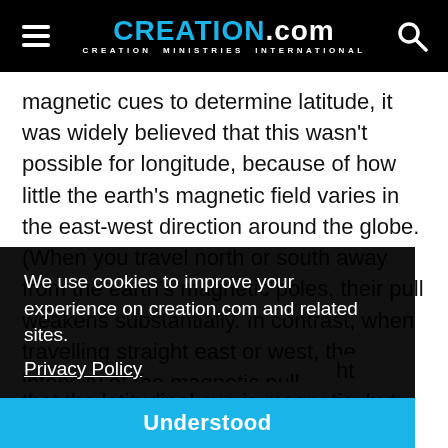CREATION.com — CREATION MINISTRIES INTERNATIONAL
magnetic cues to determine latitude, it was widely believed that this wasn't possible for longitude, because of how little the earth's magnetic field varies in the east-west direction around the globe. (When you travel north or south away from the earth's magnetic poles, their pull weakens substantially. In contrast, when travelling straight east or west, the intensity of the magnetic pull
We use cookies to improve your experience on creation.com and related sites.
Privacy Policy
Understood
that the latitudinal cue is magnetic, but that determining